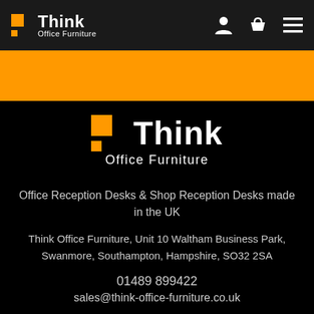[Figure (logo): Think Office Furniture logo (small) in top navigation bar with orange square icon]
[Figure (screenshot): Orange banner bar below navigation]
[Figure (logo): Think Office Furniture large logo centered on black background]
Office Reception Desks & Shop Reception Desks made in the UK
Think Office Furniture, Unit 10 Waltham Business Park, Swanmore, Southampton, Hampshire, SO32 2SA
01489 899422
sales@think-office-furniture.co.uk